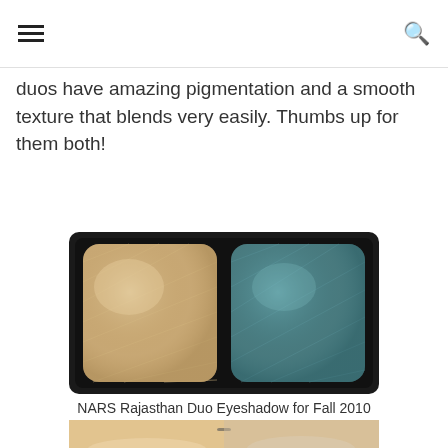duos have amazing pigmentation and a smooth texture that blends very easily. Thumbs up for them both!
[Figure (photo): NARS Rajasthan Duo Eyeshadow compact showing two pans: left is a shimmery champagne/gold eyeshadow, right is a smoky teal/slate blue eyeshadow, both in a black compact with rounded rectangle pans.]
NARS Rajasthan Duo Eyeshadow for Fall 2010
[Figure (photo): Close-up swatch of the eyeshadow colors on skin — top portion visible showing a light shimmer shade with a dark line through it.]